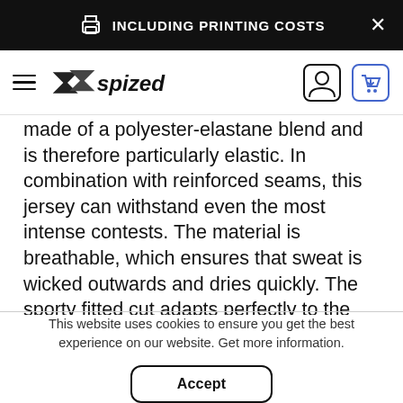INCLUDING PRINTING COSTS
[Figure (logo): Spized brand logo with hamburger menu, user account icon and cart icon in navigation bar]
made of a polyester-elastane blend and is therefore particularly elastic. In combination with reinforced seams, this jersey can withstand even the most intense contests. The material is breathable, which ensures that sweat is wicked outwards and dries quickly. The sporty fitted cut adapts perfectly to the body and ensures a modern look and exceptional comfort.
This website uses cookies to ensure you get the best experience on our website. Get more information.